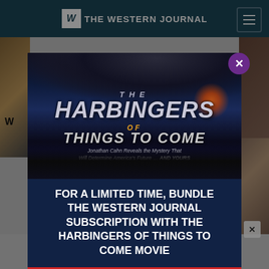THE WESTERN JOURNAL
[Figure (screenshot): Website screenshot of The Western Journal with a modal popup advertisement for 'The Harbingers of Things to Come' movie bundle with Western Journal subscription. The modal shows a dramatic movie poster with dark clouds, explosions, lightning, and large metallic text reading 'THE HARBINGERS OF THINGS TO COME'. Below the poster image is text: 'FOR A LIMITED TIME, BUNDLE THE WESTERN JOURNAL SUBSCRIPTION WITH THE HARBINGERS OF THINGS TO COME MOVIE']
FOR A LIMITED TIME, BUNDLE THE WESTERN JOURNAL SUBSCRIPTION WITH THE HARBINGERS OF THINGS TO COME MOVIE
Jonathan Cahn Reveals the Mystery That Will Determine America's Future ... AND YOURS